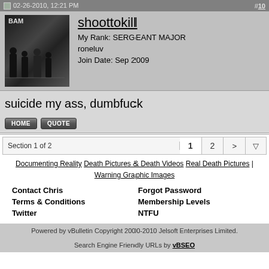02-26-2010, 12:21 PM  #10
[Figure (photo): Dark avatar image with 'BAM' text and silhouettes of figures]
shoottokill
My Rank: SERGEANT MAJOR
roneluv
Join Date: Sep 2009
suicide my ass, dumbfuck
HOME  QUOTE
Section 1 of 2  1  2  >
Documenting Reality Death Pictures & Death Videos Real Death Pictures | Warning Graphic Images
Contact Chris
Terms & Conditions
Twitter
Forgot Password
Membership Levels
NTFU
Powered by vBulletin Copyright 2000-2010 Jelsoft Enterprises Limited.
Search Engine Friendly URLs by vBSEO